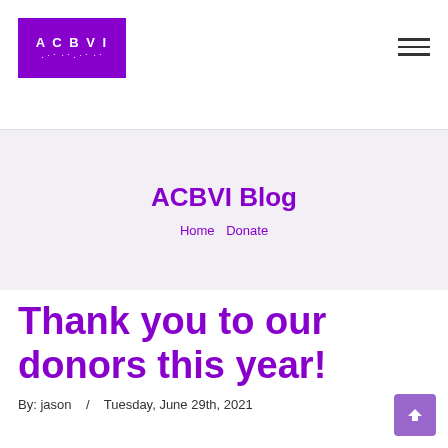ACBVI (logo with braille dots)
ACBVI Blog
Home   Donate
Thank you to our donors this year!
By: jason   /   Tuesday, June 29th, 2021